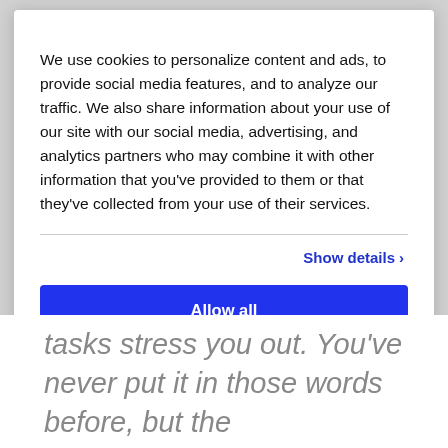We use cookies to personalize content and ads, to provide social media features, and to analyze our traffic. We also share information about your use of our site with our social media, advertising, and analytics partners who may combine it with other information that you've provided to them or that they've collected from your use of their services.
Show details >
Allow all
Customize >
tasks stress you out. You've never put it in those words before, but the